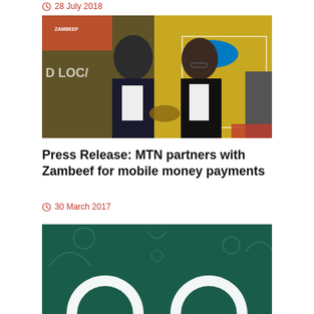28 July 2018
[Figure (photo): Two men in suits shaking hands at an MTN and Zambeef partnership event, with yellow MTN branded backdrop and Zambeef signage visible in the background]
Press Release: MTN partners with Zambeef for mobile money payments
30 March 2017
[Figure (photo): Partial image showing a teal/dark green background with white wave/logo graphic elements, likely an MTN branded image]